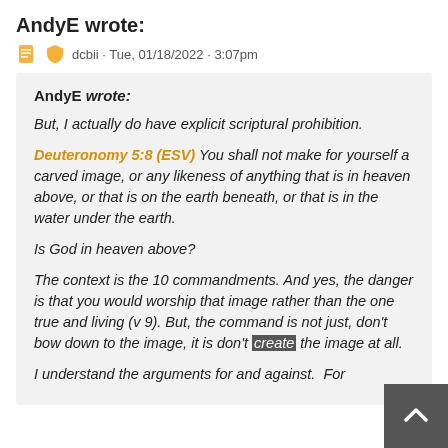AndyE wrote:
dcbii · Tue, 01/18/2022 · 3:07pm
AndyE wrote: But, I actually do have explicit scriptural prohibition. Deuteronomy 5:8 (ESV) You shall not make for yourself a carved image, or any likeness of anything that is in heaven above, or that is on the earth beneath, or that is in the water under the earth. Is God in heaven above? The context is the 10 commandments. And yes, the danger is that you would worship that image rather than the one true and living (v 9). But, the command is not just, don't bow down to the image, it is don't create the image at all. I understand the arguments for and against. For